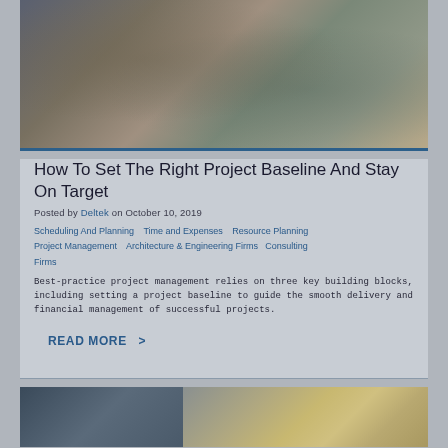[Figure (photo): Group of diverse professionals collaborating around a table with laptops and papers in an office/studio setting]
How To Set The Right Project Baseline And Stay On Target
Posted by Deltek on October 10, 2019
Scheduling And Planning   Time and Expenses   Resource Planning   Project Management   Architecture & Engineering Firms   Consulting Firms
Best-practice project management relies on three key building blocks, including setting a project baseline to guide the smooth delivery and financial management of successful projects.
READ MORE  >
[Figure (photo): Man sitting at a desk with laptop in an office environment, partial view]